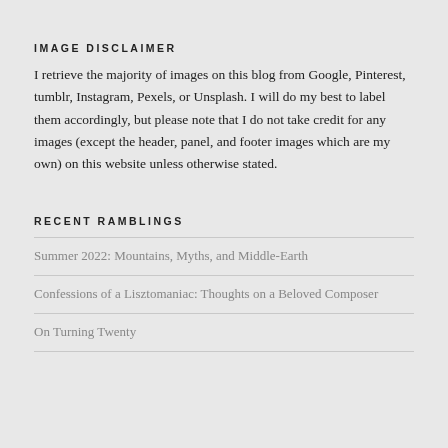IMAGE DISCLAIMER
I retrieve the majority of images on this blog from Google, Pinterest, tumblr, Instagram, Pexels, or Unsplash. I will do my best to label them accordingly, but please note that I do not take credit for any images (except the header, panel, and footer images which are my own) on this website unless otherwise stated.
RECENT RAMBLINGS
Summer 2022: Mountains, Myths, and Middle-Earth
Confessions of a Lisztomaniac: Thoughts on a Beloved Composer
On Turning Twenty